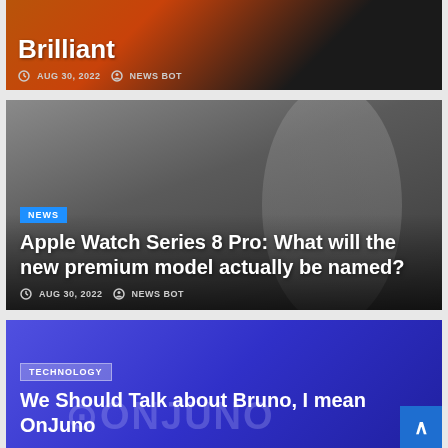Brilliant
AUG 30, 2022   NEWS BOT
[Figure (photo): Man in suit holding Apple Watch, smiling — Tim Cook style portrait]
NEWS
Apple Watch Series 8 Pro: What will the new premium model actually be named?
AUG 30, 2022   NEWS BOT
[Figure (photo): Blue/purple gradient background with OnJuno watermark logo]
TECHNOLOGY
We Should Talk about Bruno, I mean OnJuno